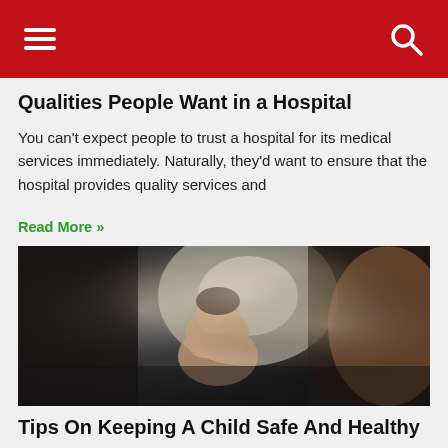Qualities People Want in a Hospital
You can't expect people to trust a hospital for its medical services immediately. Naturally, they'd want to ensure that the hospital provides quality services and
Read More »
[Figure (photo): A mother feeding a baby/toddler who is reaching up with both hands, seemingly playing with food or a spoon, sitting in a high chair in a home environment.]
Tips On Keeping A Child Safe And Healthy